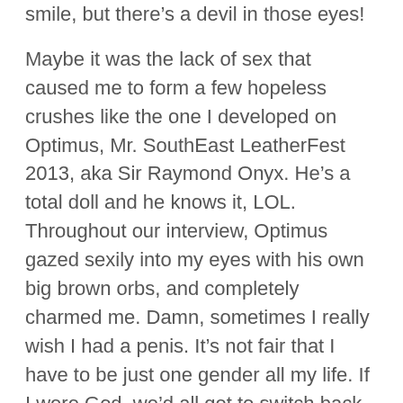smile, but there’s a devil in those eyes!
Maybe it was the lack of sex that caused me to form a few hopeless crushes like the one I developed on Optimus, Mr. SouthEast LeatherFest 2013, aka Sir Raymond Onyx. He’s a total doll and he knows it, LOL. Throughout our interview, Optimus gazed sexily into my eyes with his own big brown orbs, and completely charmed me. Damn, sometimes I really wish I had a penis. It’s not fair that I have to be just one gender all my life. If I were God, we’d all get to switch back and forth.
Then there was the lovely Luna, who performed on both nights of the contest. I missed her first act, but the second striptease more than made up for it. She stripped down to a body stocking and then proceeded to slowly rip it from her body in the most alluring way. SQEEE! The sound of ripping fabric, ohmigod, [continues]